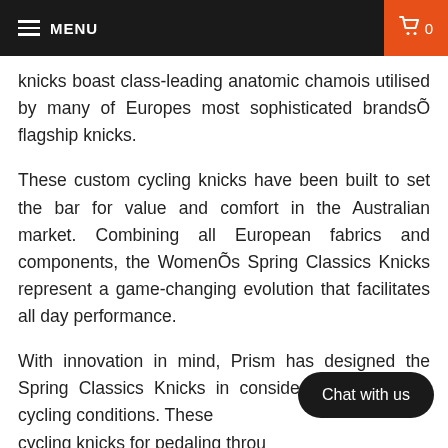MENU  0
knicks boast class-leading anatomic chamois utilised by many of Europes most sophisticated brandsÕ flagship knicks.
These custom cycling knicks have been built to set the bar for value and comfort in the Australian market. Combining all European fabrics and components, the WomenÕs Spring Classics Knicks represent a game-changing evolution that facilitates all day performance.
With innovation in mind, Prism has designed the Spring Classics Knicks in consideration of testing cycling conditions. These cycling knicks for pedaling through terrain, thanks to its all day elastic interface anatomic chamois pad rated for 120kg/m2